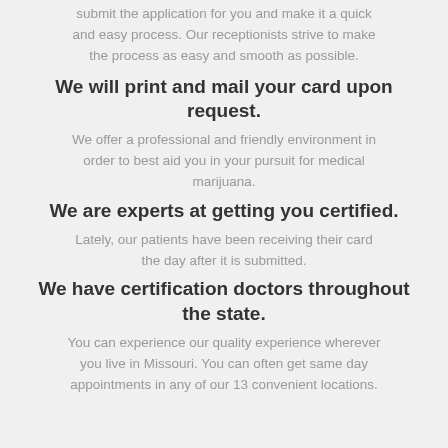submit the application for you and make it a quick and easy process. Our receptionists strive to make the process as easy and smooth as possible.
We will print and mail your card upon request.
We offer a professional and friendly environment in order to best aid you in your pursuit for medical marijuana.
We are experts at getting you certified.
Lately, our patients have been receiving their card the day after it is submitted.
We have certification doctors throughout the state.
You can experience our quality experience wherever you live in Missouri. You can often get same day appointments in any of our 13 convenient locations.